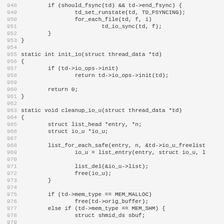[Figure (other): Source code listing showing C functions: lines 948-979, including fsync logic, init_io function, and cleanup_io_u function with memory management.]